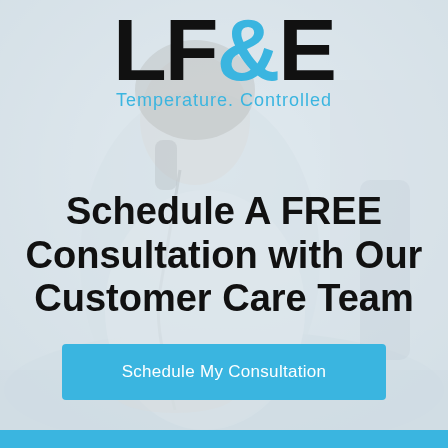[Figure (photo): Background photo of a woman smiling and talking on a telephone, with a light blue and white office environment, heavily overlaid with a whitish-blue wash.]
LF&E Temperature. Controlled
Schedule A FREE Consultation with Our Customer Care Team
Schedule My Consultation